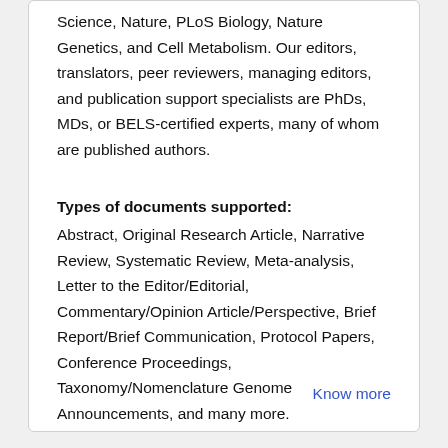Science, Nature, PLoS Biology, Nature Genetics, and Cell Metabolism. Our editors, translators, peer reviewers, managing editors, and publication support specialists are PhDs, MDs, or BELS-certified experts, many of whom are published authors.
Types of documents supported:
Abstract, Original Research Article, Narrative Review, Systematic Review, Meta-analysis, Letter to the Editor/Editorial, Commentary/Opinion Article/Perspective, Brief Report/Brief Communication, Protocol Papers, Conference Proceedings, Taxonomy/Nomenclature Genome Announcements, and many more.
Know more